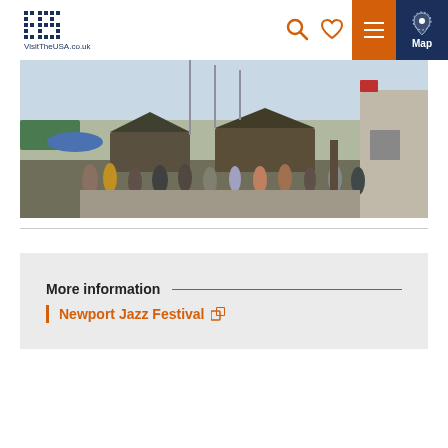VisitTheUSA.co.uk — navigation header with logo, search, heart, menu, and map icons
[Figure (photo): Outdoor waterfront festival scene with crowds of people, gazebo structures, sailboat masts, green awning, and buildings in background on a sunny day]
More information
Newport Jazz Festival [external link]